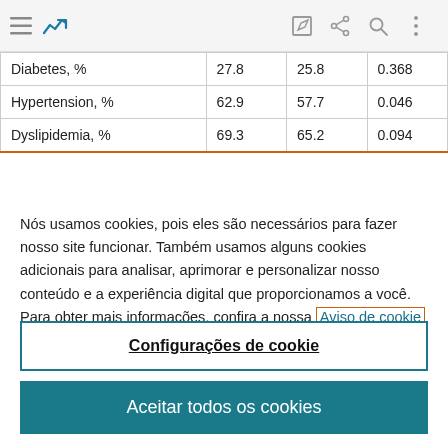[Browser navigation bar with menu, trending icon, edit, share, search, more icons]
| Diabetes, % | 27.8 | 25.8 | 0.368 |
| Hypertension, % | 62.9 | 57.7 | 0.046 |
| Dyslipidemia, % | 69.3 | 65.2 | 0.094 |
Nós usamos cookies, pois eles são necessários para fazer nosso site funcionar. Também usamos alguns cookies adicionais para analisar, aprimorar e personalizar nosso conteúdo e a experiência digital que proporcionamos a você. Para obter mais informações, confira a nossa Aviso de cookie
Configurações de cookie
Aceitar todos os cookies